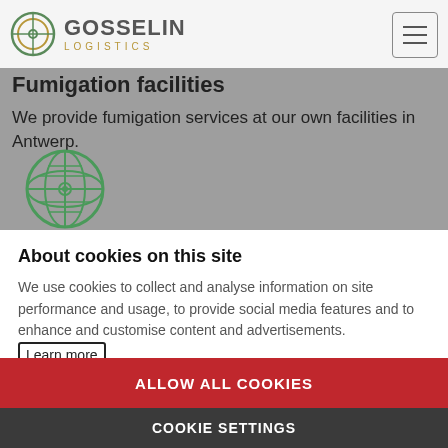[Figure (logo): Gosselin Logistics logo with circular G emblem and hamburger menu button]
Fumigation facilities
We provide fumigation services at our own facilities in Antwerp.
[Figure (illustration): Green globe/network icon]
About cookies on this site
We use cookies to collect and analyse information on site performance and usage, to provide social media features and to enhance and customise content and advertisements. Learn more
ALLOW ALL COOKIES
COOKIE SETTINGS